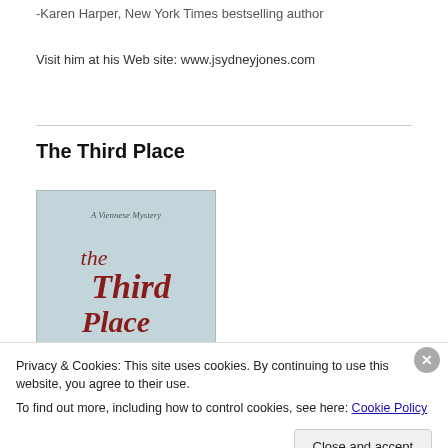-Karen Harper, New York Times bestselling author
Visit him at his Web site: www.jsydneyjones.com
The Third Place
[Figure (illustration): Book cover for 'The Third Place: A Viennese Mystery' by J. Sydney Jones, featuring cursive red title text on a muted blue-grey background with a snowy building silhouette at the bottom.]
Privacy & Cookies: This site uses cookies. By continuing to use this website, you agree to their use.
To find out more, including how to control cookies, see here: Cookie Policy